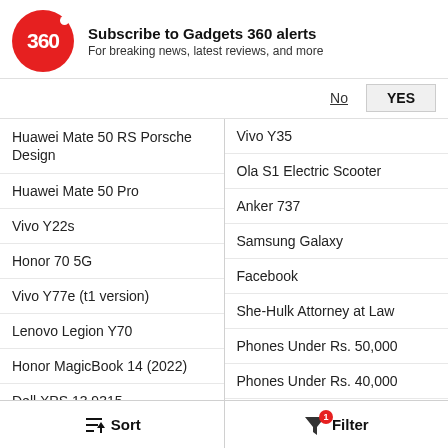Subscribe to Gadgets 360 alerts — For breaking news, latest reviews, and more
Huawei Mate 50 RS Porsche Design
Huawei Mate 50 Pro
Vivo Y22s
Honor 70 5G
Vivo Y77e (t1 version)
Lenovo Legion Y70
Honor MagicBook 14 (2022)
Dell XPS 13 9315
Honor Pad 8
Vivo Y35
Ola S1 Electric Scooter
Anker 737
Samsung Galaxy
Facebook
She-Hulk Attorney at Law
Phones Under Rs. 50,000
Phones Under Rs. 40,000
Phones Under Rs. 20,000
Sort   Filter